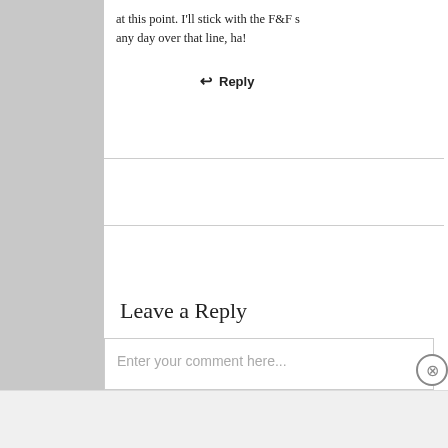at this point. I'll stick with the F&F s any day over that line, ha!
↩ Reply
Leave a Reply
Enter your comment here...
Advertisements
[Figure (illustration): MAC Cosmetics advertisement banner showing colorful lipsticks on the left, MAC logo in the center, a SHOP NOW button, and a red lipstick on the right]